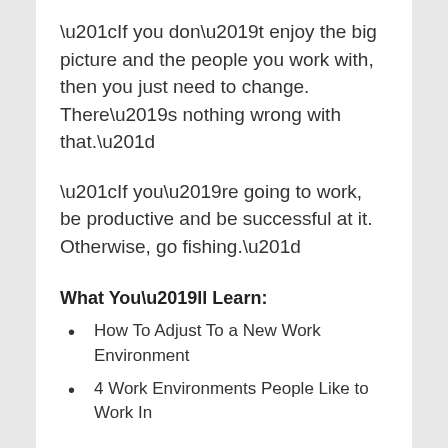“If you don’t enjoy the big picture and the people you work with, then you just need to change. There’s nothing wrong with that.”
“If you’re going to work, be productive and be successful at it. Otherwise, go fishing.”
What You’ll Learn:
How To Adjust To a New Work Environment
4 Work Environments People Like to Work In